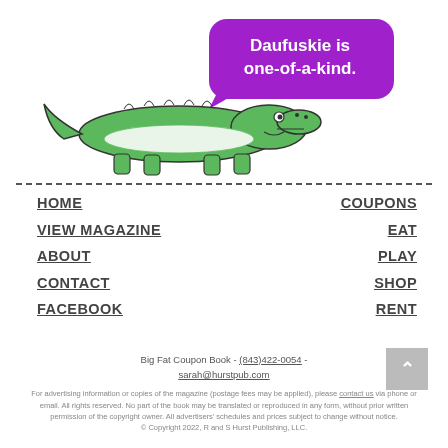[Figure (illustration): Cartoon green crocodile with a purple speech bubble saying 'Daufuskie is one-of-a-kind.']
HOME
VIEW MAGAZINE
ABOUT
CONTACT
FACEBOOK
COUPONS
EAT
PLAY
SHOP
RENT
Big Fat Coupon Book - (843)422-0054 - sarah@hurstpub.com
For advertising information or copies of the magazine (postage fees may be applied), please contact us via phone or email. All rights reserved. No part of the book may be translated or reproduced in any form, without prior written permission of the copyright owner. All advertisers' schedules and prices subject to change without notice. © Copyright 2022, R and S Hurst Publishing, LLC.